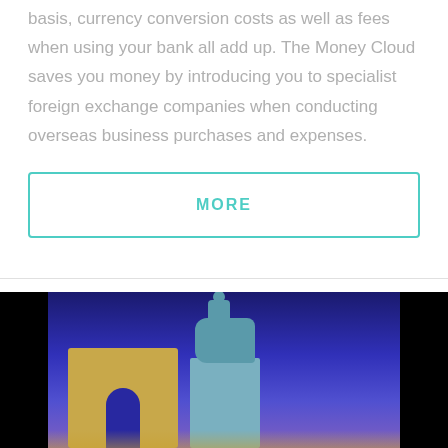basis, currency conversion costs as well as fees when using your bank all add up. The Money Cloud saves you money by introducing you to specialist foreign exchange companies when conducting overseas business purchases and expenses.
[Figure (other): A 'MORE' call-to-action button with teal/turquoise border on white background]
[Figure (photo): Nighttime photograph of a public square with an illuminated equestrian statue in the center and an ornate arch structure to the left, set against a deep blue evening sky. Black letterbox bars on left and right sides.]